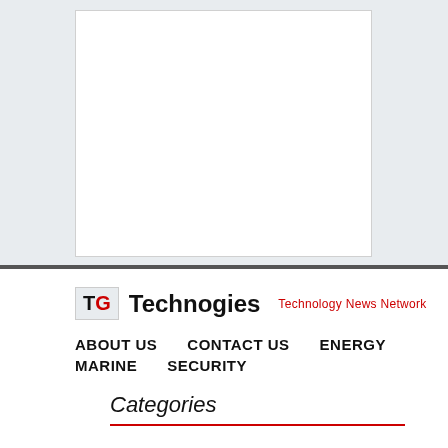[Figure (other): White content box on light grey background, top section of a webpage screenshot]
TG Technogies — Technology News Network
ABOUT US
CONTACT US
ENERGY
MARINE
SECURITY
Categories